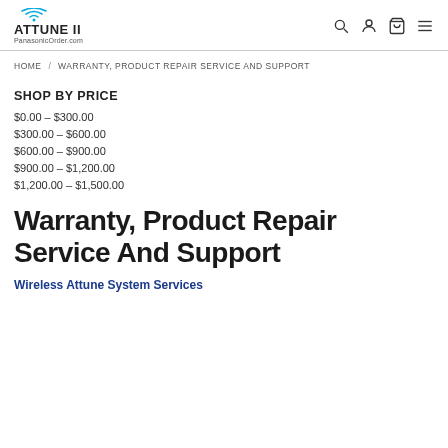ATTUNE II PanasonicOrder.com
HOME / WARRANTY, PRODUCT REPAIR SERVICE AND SUPPORT
SHOP BY PRICE
$0.00 – $300.00
$300.00 – $600.00
$600.00 – $900.00
$900.00 – $1,200.00
$1,200.00 – $1,500.00
Warranty, Product Repair Service And Support
Wireless Attune System Services